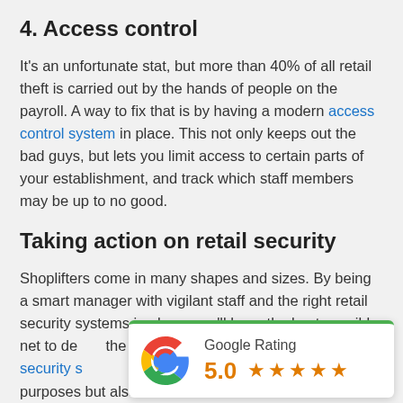4. Access control
It's an unfortunate stat, but more than 40% of all retail theft is carried out by the hands of people on the payroll. A way to fix that is by having a modern access control system in place. This not only keeps out the bad guys, but lets you limit access to certain parts of your establishment, and track which staff members may be up to no good.
Taking action on retail security
Shoplifters come in many shapes and sizes. By being a smart manager with vigilant staff and the right retail security systems in place, you'll have the best possible net to de… the bad guys red-h… provides security s… only for domestic … purposes but also the business and retail sector… so get in touch to start scaring off
[Figure (infographic): Google Rating badge showing 5.0 stars with Google G logo, green top border on white card]